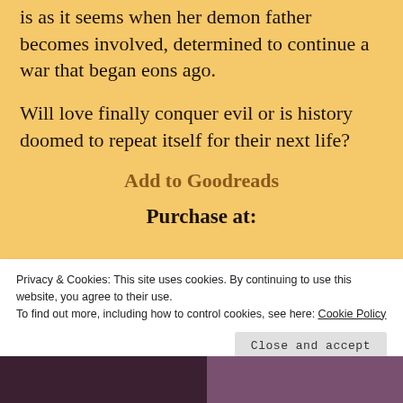is as it seems when her demon father becomes involved, determined to continue a war that began eons ago.
Will love finally conquer evil or is history doomed to repeat itself for their next life?
Add to Goodreads
Purchase at:
Privacy & Cookies: This site uses cookies. By continuing to use this website, you agree to their use.
To find out more, including how to control cookies, see here: Cookie Policy
Close and accept
[Figure (photo): Two dark book cover images partially visible at the bottom of the page]